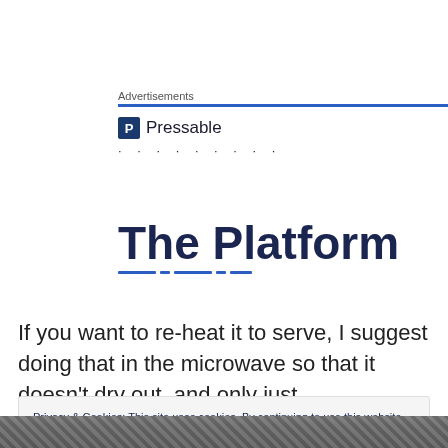Advertisements
[Figure (logo): Pressable logo with blue P icon and text 'Pressable', followed by dotted line]
The Platform
If you want to re-heat it to serve, I suggest doing that in the microwave so that it doesn’t dry out, and only just
Privacy & Cookies: This site uses cookies. By continuing to use this website, you agree to their use.
To find out more, including how to control cookies, see here: Cookie Policy
Close and accept
[Figure (photo): Partial black and white photo visible at bottom of page]